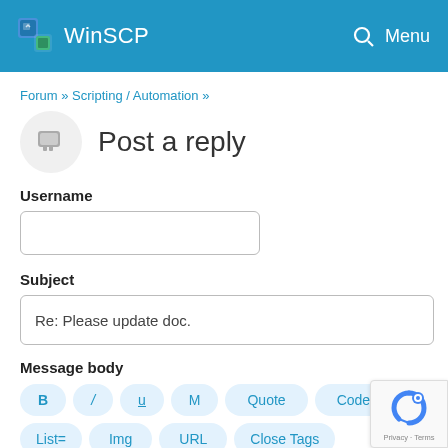WinSCP  Menu
Forum » Scripting / Automation »
Post a reply
Username
Subject
Re: Please update doc.
Message body
B  /  u  M  Quote  Code
List=  Img  URL  Close Tags